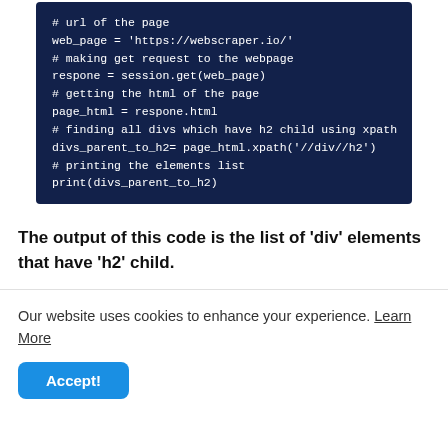[Figure (screenshot): Dark navy code block showing Python web scraping code with comments]
The output of this code is the list of 'div' elements that have 'h2' child.
Our website uses cookies to enhance your experience. Learn More
Accept!